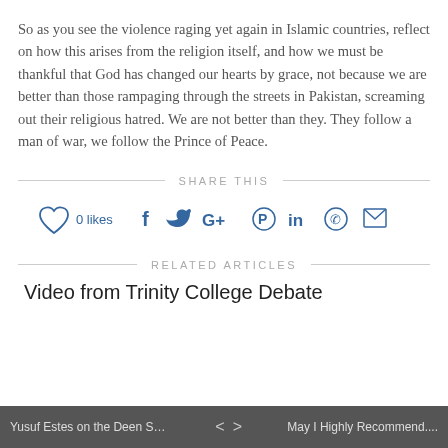So as you see the violence raging yet again in Islamic countries, reflect on how this arises from the religion itself, and how we must be thankful that God has changed our hearts by grace, not because we are better than those rampaging through the streets in Pakistan, screaming out their religious hatred. We are not better than they. They follow a man of war, we follow the Prince of Peace.
SHARE THIS
[Figure (infographic): Social sharing bar with heart/like button showing 0 likes, followed by Facebook, Twitter, Google+, Pinterest, LinkedIn, WhatsApp, and email icons in blue.]
RELATED ARTICLES
Video from Trinity College Debate
Yusuf Estes on the Deen Show: Par...  <  >  May I Highly Recommend....